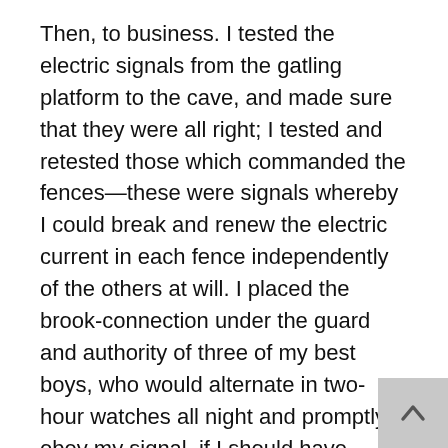Then, to business. I tested the electric signals from the gatling platform to the cave, and made sure that they were all right; I tested and retested those which commanded the fences—these were signals whereby I could break and renew the electric current in each fence independently of the others at will. I placed the brook-connection under the guard and authority of three of my best boys, who would alternate in two-hour watches all night and promptly obey my signal, if I should have occasion to give it—three revolver-shots in quick succession. Sentry-duty was discarded for the night, and the corral left empty of life; I ordered that quiet be maintained in the cave, and the electric lights turned down to a glimmer. As soon as it was good and dark, I shut off the